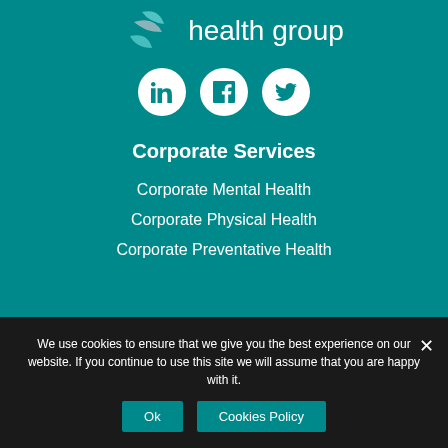[Figure (logo): Health group logo with teal leaf/bird graphic and 'health group' text in white on teal background]
[Figure (infographic): Three white circular social media icons: LinkedIn, Facebook, Twitter on teal background]
Corporate Services
Corporate Mental Health
Corporate Physical Health
Corporate Preventative Health
We use cookies to ensure that we give you the best experience on our website. If you continue to use this site we will assume that you are happy with it.